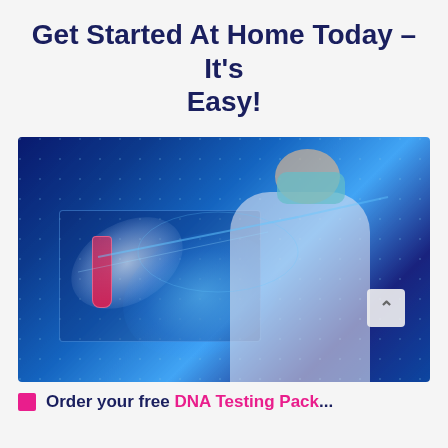Get Started At Home Today – It's Easy!
[Figure (photo): A doctor or scientist wearing a surgical mask and gloves, holding a red test tube in one hand and touching a glowing digital display showing a DNA helix with the other hand. The background is dark blue with glowing blue digital elements.]
Order your free DNA Testing Pack...